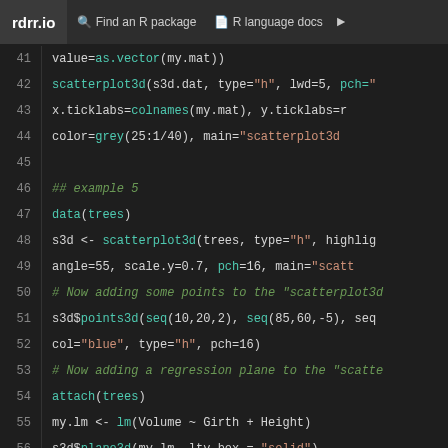rdrr.io  Find an R package  R language docs
41    value=as.vector(my.mat))
42    scatterplot3d(s3d.dat, type="h", lwd=5, pch="
43    x.ticklabs=colnames(my.mat), y.ticklabs=r
44    color=grey(25:1/40), main="scatterplot3d 
45
46    ## example 5
47    data(trees)
48    s3d <- scatterplot3d(trees, type="h", highlig
49    angle=55, scale.y=0.7, pch=16, main="scatt
50    # Now adding some points to the "scatterplot3d
51    s3d$points3d(seq(10,20,2), seq(85,60,-5), seq
52    col="blue", type="h", pch=16)
53    # Now adding a regression plane to the "scatte
54    attach(trees)
55    my.lm <- lm(Volume ~ Girth + Height)
56    s3d$plane3d(my.lm, lty.box = "solid")
57
58    ## example 6; by Martin Maechler
59    subodraw <- function(ros3d, min = 0, max = 25